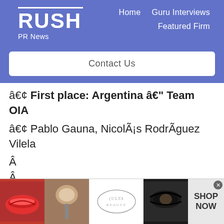RUSH PR News — Home | Guru Interviews | Featured Firm
Contact Us
• First place: Argentina – Team OIA
• Pablo Gauna, Nicolás Rodríguez Vilela
• Second place: France –
[Figure (photo): Advertisement banner showing beauty/makeup images including lips, brush, eye makeup, Ulta Beauty logo, and Shop Now call to action]